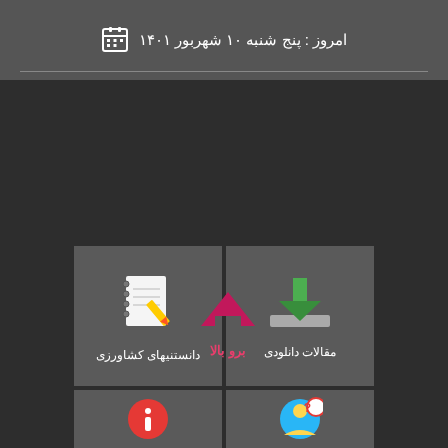امروز : پنج شنبه ۱۰ شهربور ۱۴۰۱
[Figure (screenshot): Navigation tile: مقالات دانلودی (Downloadable Articles) with download icon]
[Figure (screenshot): Navigation tile: دانستنیهای کشاورزی (Agricultural Knowledge) with notebook/pencil icon]
[Figure (screenshot): Navigation tile row 2 left - partially visible with question/person icon]
[Figure (screenshot): Navigation tile row 2 right - partially visible with info icon]
[Figure (infographic): Back to top button with pink/magenta upward chevron icon and label بروبالا]